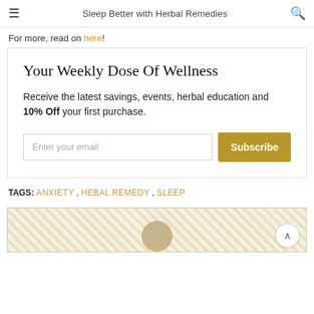Sleep Better with Herbal Remedies
For more, read on here!
Your Weekly Dose Of Wellness
Receive the latest savings, events, herbal education and 10% Off your first purchase.
TAGS: ANXIETY , HEBAL REMEDY , SLEEP
[Figure (photo): Bottom preview area with hatched pattern background and a circular avatar photo partially visible at bottom center, with a scroll-to-top button in the lower right corner.]